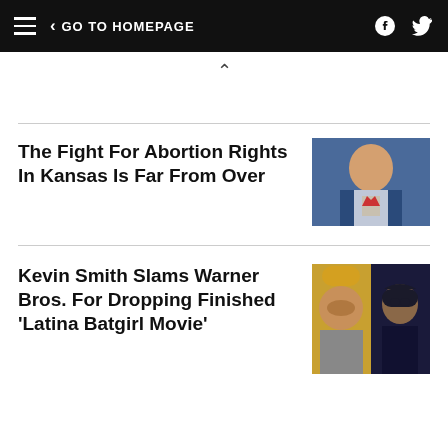GO TO HOMEPAGE
The Fight For Abortion Rights In Kansas Is Far From Over
[Figure (photo): Photo of a man in a suit smiling]
Kevin Smith Slams Warner Bros. For Dropping Finished 'Latina Batgirl Movie'
[Figure (photo): Two-panel photo: man with yellow cap on left, Batgirl character on right]